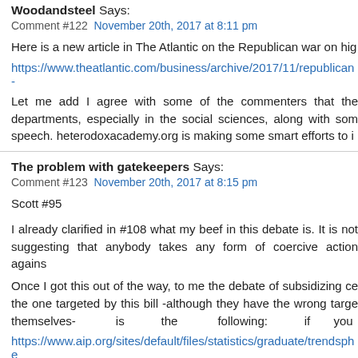Woodandsteel Says:
Comment #122  November 20th, 2017 at 8:11 pm
Here is a new article in The Atlantic on the Republican war on hig
https://www.theatlantic.com/business/archive/2017/11/republican-
Let me add I agree with some of the commenters that the departments, especially in the social sciences, along with som speech. heterodoxacademy.org is making some smart efforts to i
The problem with gatekeepers Says:
Comment #123  November 20th, 2017 at 8:15 pm
Scott #95
I already clarified in #108 what my beef in this debate is. It is not suggesting that anybody takes any form of coercive action agains
Once I got this out of the way, to me the debate of subsidizing ce the one targeted by this bill -although they have the wrong targe themselves- is the following: if you
https://www.aip.org/sites/default/files/statistics/graduate/trendsphe
early 1970s there has been a sharp decrease of US citizens enro that are typically funded via federal government subsidies. Inc